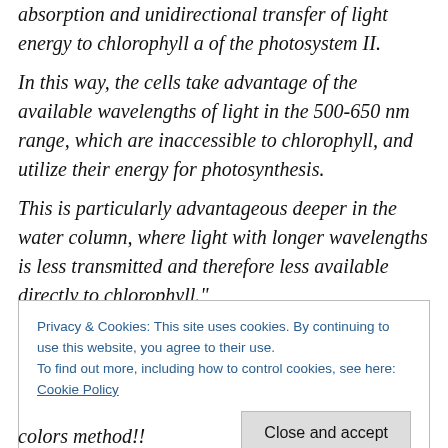absorption and unidirectional transfer of light energy to chlorophyll a of the photosystem II. In this way, the cells take advantage of the available wavelengths of light in the 500-650 nm range, which are inaccessible to chlorophyll, and utilize their energy for photosynthesis. This is particularly advantageous deeper in the water column, where light with longer wavelengths is less transmitted and therefore less available directly to chlorophyll."
Privacy & Cookies: This site uses cookies. By continuing to use this website, you agree to their use.
To find out more, including how to control cookies, see here: Cookie Policy
colors method!!